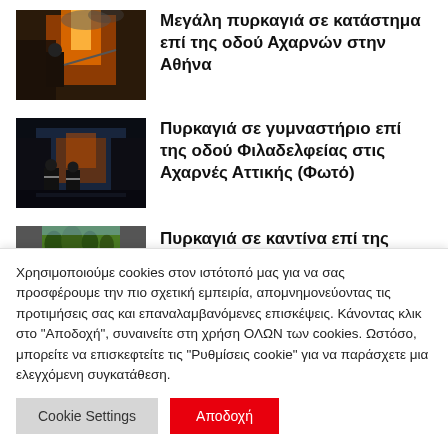[Figure (photo): Firefighter with flames in background - store fire on Acharnon street]
Μεγάλη πυρκαγιά σε κατάστημα επί της οδού Αχαρνών στην Αθήνα
[Figure (photo): Firefighters at night - gymnasium fire on Filadelfias street in Acharnes Attica]
Πυρκαγιά σε γυμναστήριο επί της οδού Φιλαδελφείας στις Αχαρνές Αττικής (Φωτό)
[Figure (photo): Partially visible image - canteen fire]
Πυρκαγιά σε καντίνα επί της
Χρησιμοποιούμε cookies στον ιστότοπό μας για να σας προσφέρουμε την πιο σχετική εμπειρία, απομνημονεύοντας τις προτιμήσεις σας και επαναλαμβανόμενες επισκέψεις. Κάνοντας κλικ στο "Αποδοχή", συναινείτε στη χρήση ΟΛΩΝ των cookies. Ωστόσο, μπορείτε να επισκεφτείτε τις "Ρυθμίσεις cookie" για να παράσχετε μια ελεγχόμενη συγκατάθεση.
Cookie Settings
Αποδοχή